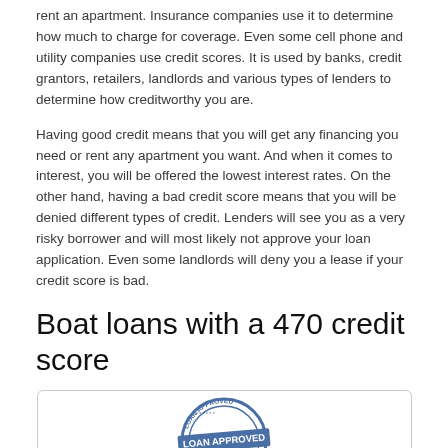rent an apartment. Insurance companies use it to determine how much to charge for coverage. Even some cell phone and utility companies use credit scores. It is used by banks, credit grantors, retailers, landlords and various types of lenders to determine how creditworthy you are.
Having good credit means that you will get any financing you need or rent any apartment you want. And when it comes to interest, you will be offered the lowest interest rates. On the other hand, having a bad credit score means that you will be denied different types of credit. Lenders will see you as a very risky borrower and will most likely not approve your loan application. Even some landlords will deny you a lease if your credit score is bad.
Boat loans with a 470 credit score
[Figure (illustration): A circular blue stamp graphic with the text LOAN APPROVED repeated, surrounded by a decorative border and stars.]